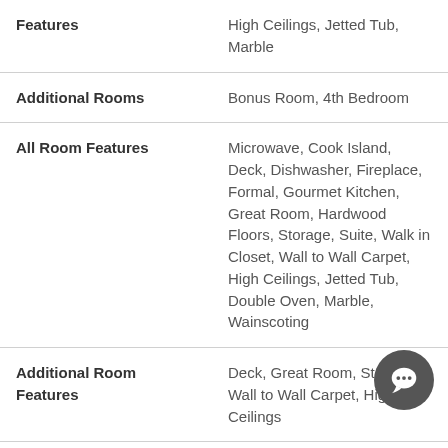| Features | High Ceilings, Jetted Tub, Marble |
| Additional Rooms | Bonus Room, 4th Bedroom |
| All Room Features | Microwave, Cook Island, Deck, Dishwasher, Fireplace, Formal, Gourmet Kitchen, Great Room, Hardwood Floors, Storage, Suite, Walk in Closet, Wall to Wall Carpet, High Ceilings, Jetted Tub, Double Oven, Marble, Wainscoting |
| Additional Room Features | Deck, Great Room, Storage, Wall to Wall Carpet, High Ceilings |
| Second Bedroom | Wall to Wall Carpet, High |